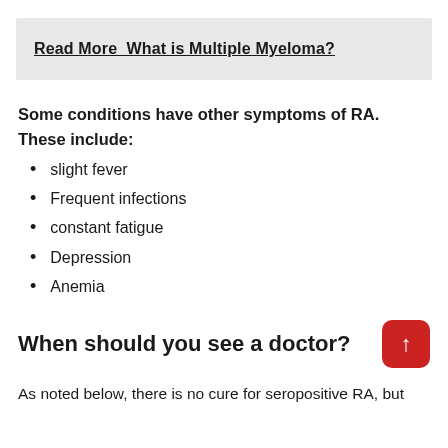Read More  What is Multiple Myeloma?
Some conditions have other symptoms of RA. These include:
slight fever
Frequent infections
constant fatigue
Depression
Anemia
When should you see a doctor?
As noted below, there is no cure for seropositive RA, but